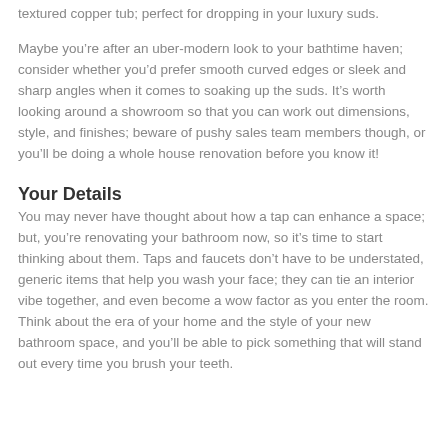textured copper tub; perfect for dropping in your luxury suds.
Maybe you’re after an uber-modern look to your bathtime haven; consider whether you’d prefer smooth curved edges or sleek and sharp angles when it comes to soaking up the suds. It’s worth looking around a showroom so that you can work out dimensions, style, and finishes; beware of pushy sales team members though, or you’ll be doing a whole house renovation before you know it!
Your Details
You may never have thought about how a tap can enhance a space; but, you’re renovating your bathroom now, so it’s time to start thinking about them. Taps and faucets don’t have to be understated, generic items that help you wash your face; they can tie an interior vibe together, and even become a wow factor as you enter the room. Think about the era of your home and the style of your new bathroom space, and you’ll be able to pick something that will stand out every time you brush your teeth.